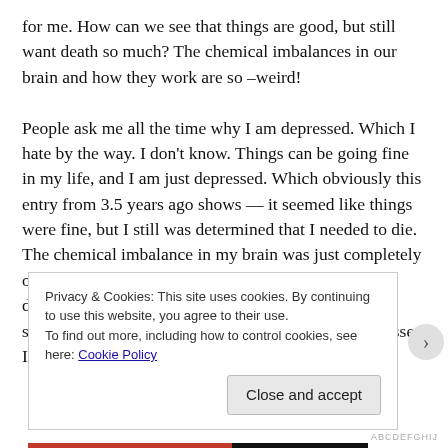for me.  How can we see that things are good, but still want death so much?  The chemical imbalances in our brain and how they work are so –weird!

People ask me all the time why I am depressed.  Which I hate by the way.  I don't know.  Things can be going fine in my life, and I am just depressed.  Which obviously this entry from 3.5 years ago shows — it seemed like things were fine, but I still was determined that I needed to die.  The chemical imbalance in my brain was just completely off!  That is how bipolar works, that is how major depressive disorder works, and schizoaffective, schizophrenia, and a whole host of other mental illnesses.  It isn't a simple switch that I can turn on and
Privacy & Cookies: This site uses cookies. By continuing to use this website, you agree to their use.
To find out more, including how to control cookies, see here: Cookie Policy
Close and accept